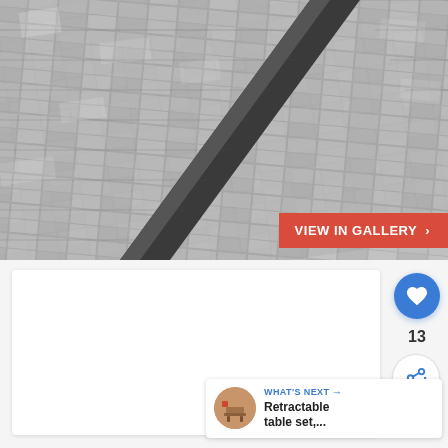[Figure (photo): Close-up photograph of gray asphalt roof shingles with a dark metal ridge cap or flashing running diagonally across the center of the image. The shingles are textured and overlapping in a typical architectural shingle pattern.]
VIEW IN GALLERY ›
[Figure (other): UI overlay showing a blue circular like/heart button, a count of 13, and a blue circular share button with a share icon.]
13
WHAT'S NEXT → Retractable table set,...